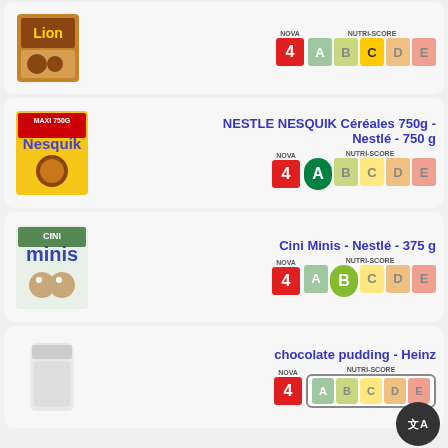[Figure (screenshot): Product listing card for Lion cereal with NOVA 4 badge and Nutri-Score C highlighted]
[Figure (screenshot): Product listing card for NESTLE NESQUIK Céréales 750g - Nestlé - 750g with NOVA 4 badge and Nutri-Score A highlighted]
NESTLE NESQUIK Céréales 750g - Nestlé - 750 g
[Figure (screenshot): Product listing card for Cini Minis - Nestlé - 375g with NOVA 4 badge and Nutri-Score B highlighted]
Cini Minis - Nestlé - 375 g
[Figure (screenshot): Product listing card for chocolate pudding - Heinz with NOVA 4 badge and Nutri-Score unknown]
chocolate pudding - Heinz
[Figure (screenshot): Partial product listing card for Monster - Monster Energy]
Monster - Monster Energy